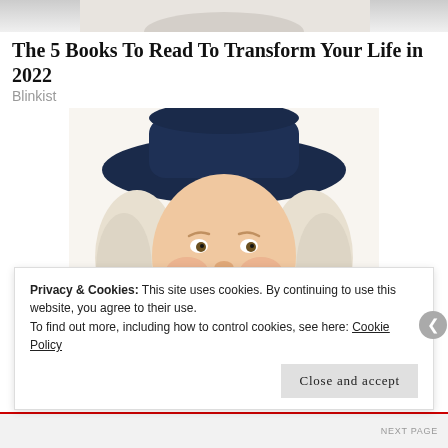[Figure (photo): Partial photo strip at top of page, showing the bottom of a figure, cropped]
The 5 Books To Read To Transform Your Life in 2022
Blinkist
[Figure (illustration): Illustration of the Quaker Oats man: a smiling colonial-era man with white curly hair wearing a large dark blue hat and dark coat with white cravat]
Privacy & Cookies: This site uses cookies. By continuing to use this website, you agree to their use.
To find out more, including how to control cookies, see here: Cookie Policy
Close and accept